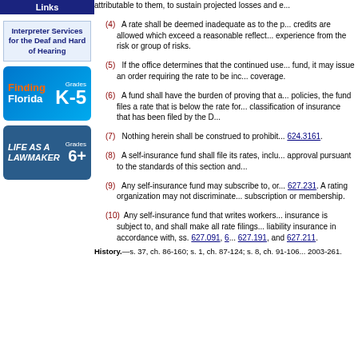Links
[Figure (illustration): Interpreter Services for the Deaf and Hard of Hearing button]
[Figure (illustration): Finding Florida Grades K-5 educational link banner]
[Figure (illustration): Life as a Lawmaker Grades 6+ educational link banner]
(4) A rate shall be deemed inadequate as to the p... credits are allowed which exceed a reasonable reflect... experience from the risk or group of risks.
(5) If the office determines that the continued use... fund, it may issue an order requiring the rate to be inc... coverage.
(6) A fund shall have the burden of proving that a... policies, the fund files a rate that is below the rate for... classification of insurance that has been filed by the D...
(7) Nothing herein shall be construed to prohibit... 624.3161.
(8) A self-insurance fund shall file its rates, inclu... approval pursuant to the standards of this section and...
(9) Any self-insurance fund may subscribe to, or... 627.231. A rating organization may not discriminate... subscription or membership.
(10) Any self-insurance fund that writes workers... insurance is subject to, and shall make all rate filings... liability insurance in accordance with, ss. 627.091, 6... 627.191, and 627.211.
History.—s. 37, ch. 86-160; s. 1, ch. 87-124; s. 8, ch. 91-106... 2003-261.